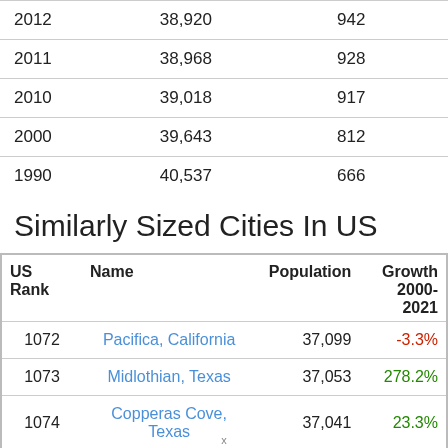| Year | Population |  |
| --- | --- | --- |
| 2012 | 38,920 | 942 |
| 2011 | 38,968 | 928 |
| 2010 | 39,018 | 917 |
| 2000 | 39,643 | 812 |
| 1990 | 40,537 | 666 |
Similarly Sized Cities In US
| US Rank | Name | Population | Growth 2000-2021 |
| --- | --- | --- | --- |
| 1072 | Pacifica, California | 37,099 | -3.3% |
| 1073 | Midlothian, Texas | 37,053 | 278.2% |
| 1074 | Copperas Cove, Texas | 37,041 | 23.3% |
| 1075 | Hilliard, Ohio | 36,892 | 51.1% |